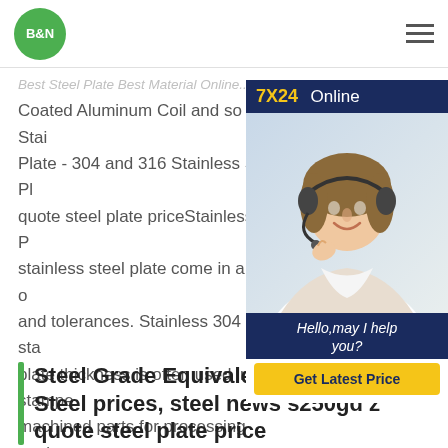B&N (logo)
Coated Aluminum Coil and so on. Stainless Steel Plate - 304 and 316 Stainless Steel Plate quote steel plate priceStainless Steel Plate stainless steel plate come in a variety of and tolerances. Stainless 304 304L stainless plate thickness is often used in stamped machined parts for processing equipment 316L stainless steel plate are employed by the chemical, marine and power transmission industries.
[Figure (photo): Customer service representative (woman with headset) with 7X24 Online chat widget panel showing 'Hello, may I help you?' and 'Get Latest Price' button on dark navy background]
Steel Grade Equivalency Table - Steel prices, steel news s250gd z quote steel plate price